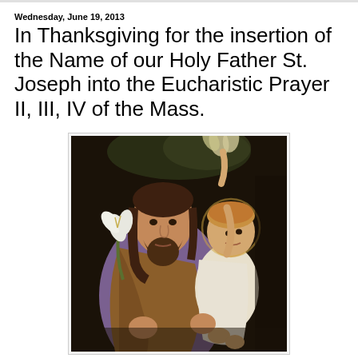Wednesday, June 19, 2013
In Thanksgiving for the insertion of the Name of our Holy Father St. Joseph into the Eucharistic Prayer II, III, IV of the Mass.
[Figure (illustration): Old master painting of St. Joseph holding the young Jesus Christ. St. Joseph is a bearded man holding lily flowers and wearing a purple/lavender robe with a brown cloak. The child Jesus, with a halo, sits on his arm reaching upward toward flowering branches.]